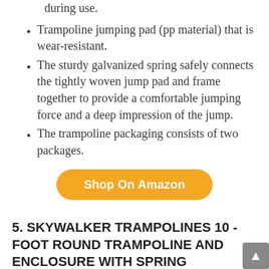during use.
Trampoline jumping pad (pp material) that is wear-resistant.
The sturdy galvanized spring safely connects the tightly woven jump pad and frame together to provide a comfortable jumping force and a deep impression of the jump.
The trampoline packaging consists of two packages.
[Figure (other): Orange pill-shaped button with white bold text reading 'Shop On Amazon']
5. SKYWALKER TRAMPOLINES 10 -FOOT ROUND TRAMPOLINE AND ENCLOSURE WITH SPRING